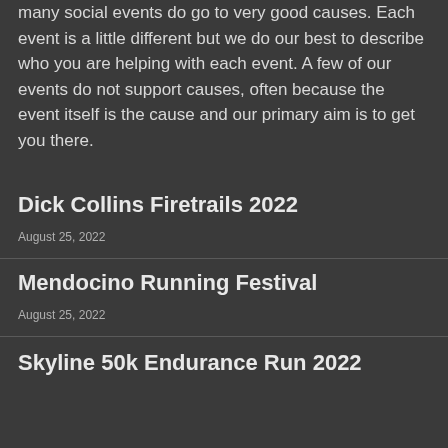many social events do go to very good causes. Each event is a little different but we do our best to describe who you are helping with each event. A few of our events do not support causes, often because the event itself is the cause and our primary aim is to get you there.
Dick Collins Firetrails 2022
August 25, 2022
Mendocino Running Festival
August 25, 2022
Skyline 50k Endurance Run 2022